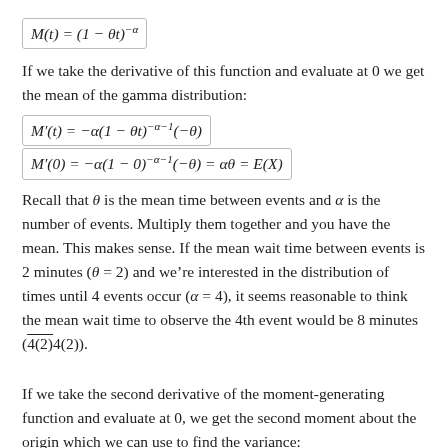If we take the derivative of this function and evaluate at 0 we get the mean of the gamma distribution:
Recall that θ is the mean time between events and α is the number of events. Multiply them together and you have the mean. This makes sense. If the mean wait time between events is 2 minutes (θ = 2) and we're interested in the distribution of times until 4 events occur (α = 4), it seems reasonable to think the mean wait time to observe the 4th event would be 8 minutes (4(2)).
If we take the second derivative of the moment-generating function and evaluate at 0, we get the second moment about the origin which we can use to find the variance: